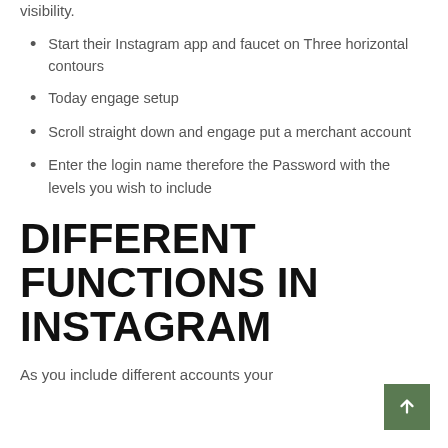visibility.
Start their Instagram app and faucet on Three horizontal contours
Today engage setup
Scroll straight down and engage put a merchant account
Enter the login name therefore the Password with the levels you wish to include
DIFFERENT FUNCTIONS IN INSTAGRAM
As you include different accounts your